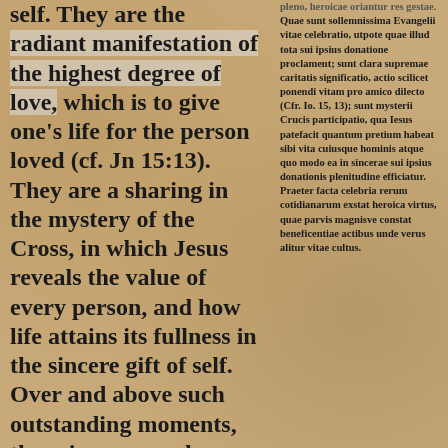self. They are the radiant manifestation of the highest degree of love, which is to give one's life for the person loved (cf. Jn 15:13). They are a sharing in the mystery of the Cross, in which Jesus reveals the value of every person, and how life attains its fullness in the sincere gift of self. Over and above such outstanding moments, there is an everyday heroism, made up of gestures of sharing, big or small, which build up an authentic culture of life.
A particularly praiseworthy
pleno, heroicae oriantur res gestae. Quae sunt sollemnissima Evangelii vitae celebratio, utpote quae illud tota sui ipsius donatione proclament; sunt clara supremae caritatis significatio, actio scilicet ponendi vitam pro amico dilecto (Cfr. Io. 15, 13); sunt mysterii Crucis participatio, qua Iesus patefacit quantum pretium habeat sibi vita cuiusque hominis atque quo modo ea in sincerae sui ipsius donationis plenitudine efficiatur. Praeter facta celebria rerum cotidianarum exstat heroica virtus, quae parvis magnisve constat beneficentiae actibus unde verus alitur vitae cultus.